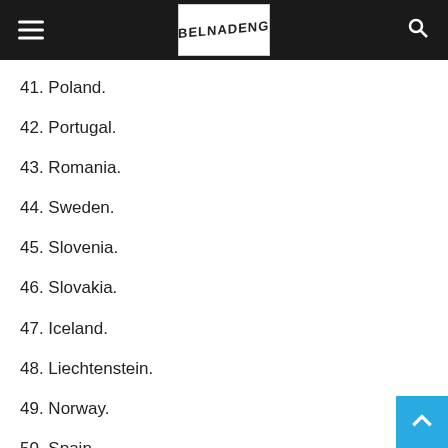BELNADENG
41. Poland.
42. Portugal.
43. Romania.
44. Sweden.
45. Slovenia.
46. Slovakia.
47. Iceland.
48. Liechtenstein.
49. Norway.
50. Spain.
51. Switzerland